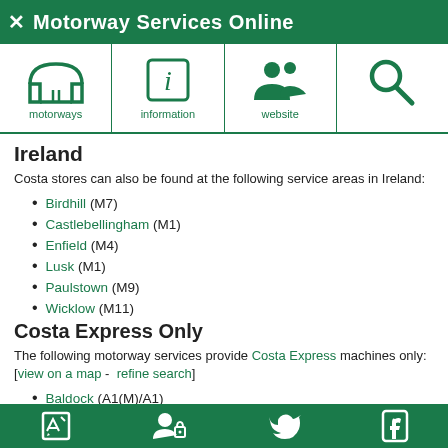Motorway Services Online
[Figure (infographic): Navigation icon row with motorways (road tunnel icon), information (italic i in box), website (people/users icon), and search (magnifying glass icon)]
Ireland
Costa stores can also be found at the following service areas in Ireland:
Birdhill (M7)
Castlebellingham (M1)
Enfield (M4)
Lusk (M1)
Paulstown (M9)
Wicklow (M11)
Costa Express Only
The following motorway services provide Costa Express machines only: [view on a map -  refine search]
Baldock (A1(M)/A1)
Footer icons: edit, user/login, twitter, facebook